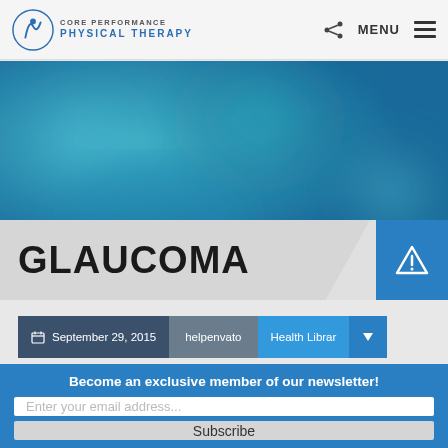Core Performance Physical Therapy | MENU
[Figure (photo): Blue teal blurred bokeh background hero image]
GLAUCOMA
September 29, 2015  helpenvato  Health Library
Become an exclusive member of our newsletter!
Enter your email address...
Subscribe